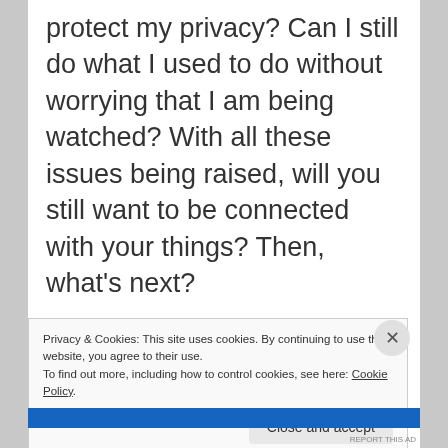protect my privacy? Can I still do what I used to do without worrying that I am being watched? With all these issues being raised, will you still want to be connected with your things? Then, what's next?
Sponsored Content
Privacy & Cookies: This site uses cookies. By continuing to use this website, you agree to their use.
To find out more, including how to control cookies, see here: Cookie Policy.